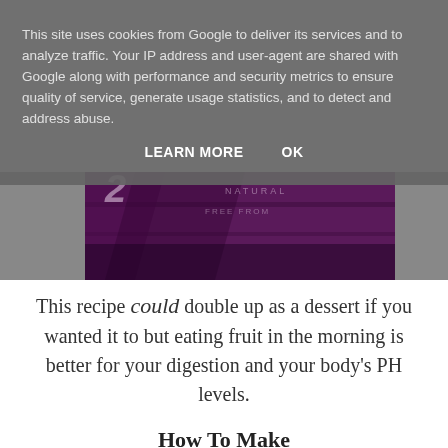This site uses cookies from Google to deliver its services and to analyze traffic. Your IP address and user-agent are shared with Google along with performance and security metrics to ensure quality of service, generate usage statistics, and to detect and address abuse.
LEARN MORE    OK
[Figure (photo): Close-up photo of a purple/dark colored food packaging or product, partially visible]
This recipe could double up as a dessert if you wanted it to but eating fruit in the morning is better for your digestion and your body's PH levels.
How To Make
Cut your banana in half lengthways